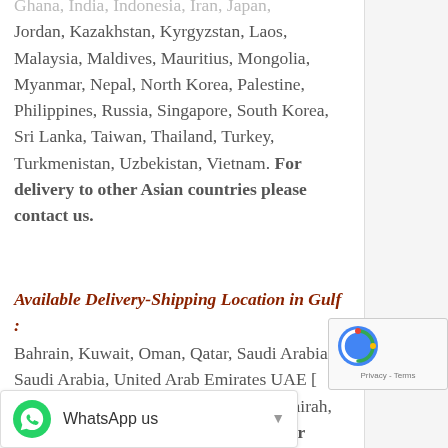Ghana, India, Indonesia, Iran, Japan, Jordan, Kazakhstan, Kyrgyzstan, Laos, Malaysia, Maldives, Mauritius, Mongolia, Myanmar, Nepal, North Korea, Palestine, Philippines, Russia, Singapore, South Korea, Sri Lanka, Taiwan, Thailand, Turkey, Turkmenistan, Uzbekistan, Vietnam. For delivery to other Asian countries please contact us.
Available Delivery-Shipping Location in Gulf :
Bahrain, Kuwait, Oman, Qatar, Saudi Arabia, Saudi Arabia, United Arab Emirates UAE [ Abu Dhabi, Ajman, Sharjah, Dubai, Fujairah, Ras Al Khaimah, Umm Al Quwain ]. For delivery to other Gulf countries please contact us.
Available Delivery-Shipping Location in South & North America:
Antigua and Barbuda, Bahamas, Barbados, Belize, Canada, Costa Rica, Cuba, Dominica, Dominican...